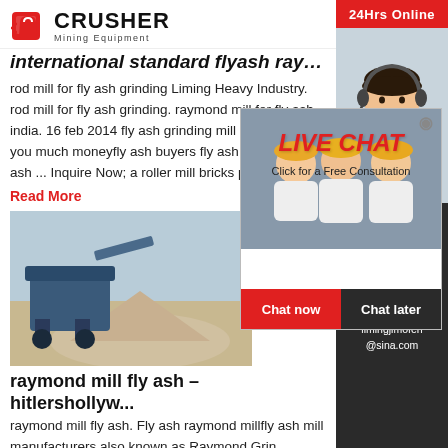CRUSHER Mining Equipment
international standard flyash raymond mill
rod mill for fly ash grinding Liming Heavy Industry. rod mill for fly ash grinding. raymond mill for fly ash india. 16 feb 2014 fly ash grinding mill india bring you much moneyfly ash buyers fly ash importers fly ash ... Inquire Now; a roller mill bricks plant
Read More
[Figure (photo): Mining machinery with gravel/crushed stone at industrial site]
[Figure (photo): Live chat popup with workers in hard hats and a chat operator]
raymond mill fly ash – hitlershollyw...
raymond mill fly ash. Fly ash raymond millfly ash mill manufacturers also known as Raymond Grinder Pendulum Grinder is designed by CLIRIK Machinery with
[Figure (photo): Customer service representative with headset on right sidebar]
24Hrs Online
Need questions & suggestion?
Chat Now
Enquiry
limingjlmofen@sina.com